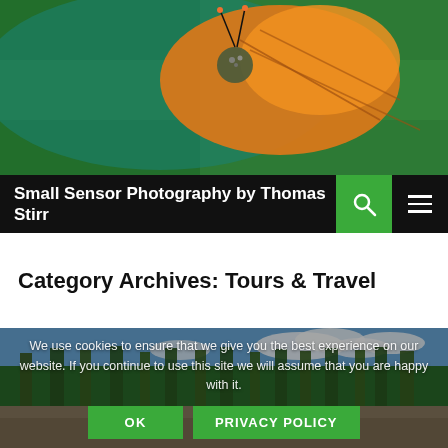[Figure (photo): Close-up macro photo of an orange butterfly on a green leaf background]
Small Sensor Photography by Thomas Stirr
Category Archives: Tours & Travel
[Figure (photo): Landscape photo of forest trees and rocky terrain with blue sky and clouds]
We use cookies to ensure that we give you the best experience on our website. If you continue to use this site we will assume that you are happy with it.
OK   PRIVACY POLICY